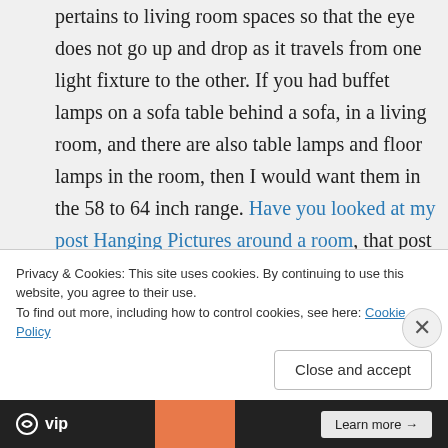pertains to living room spaces so that the eye does not go up and drop as it travels from one light fixture to the other. If you had buffet lamps on a sofa table behind a sofa, in a living room, and there are also table lamps and floor lamps in the room, then I would want them in the 58 to 64 inch range. Have you looked at my post Hanging Pictures around a room, that post will get you thinking about adding something over the buffet, and lining the top of the art
Privacy & Cookies: This site uses cookies. By continuing to use this website, you agree to their use.
To find out more, including how to control cookies, see here: Cookie Policy
Close and accept